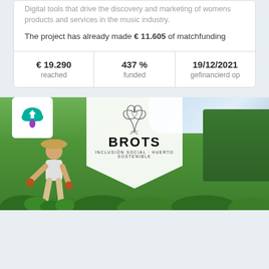Digital tools that drive the discovery and marketing of womens products and services in the music industry.
The project has already made € 11.605 of matchfunding
| reached | funded | gefinancierd op |
| --- | --- | --- |
| € 19.290 | 437 % | 19/12/2021 |
[Figure (photo): Bottom section showing a person working in a green garden/farm field. Overlaid with a white logo box containing a teal cloud with purple drop logo (top-left), and a white shield-shaped badge in the center with a plant sketch illustration and 'BROTS - INCLUSION SOCIAL · HUERTO SOSTENIBLE' text.]